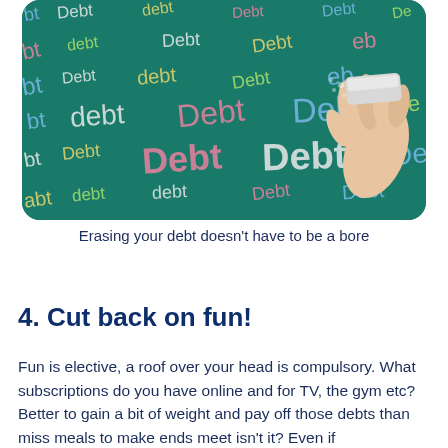[Figure (photo): A chalkboard covered in the word 'Debt' written in various colors of chalk script. A hand holding an eraser is visible on the right side, appearing to erase the words.]
Erasing your debt doesn't have to be a bore
4. Cut back on fun!
Fun is elective, a roof over your head is compulsory. What subscriptions do you have online and for TV, the gym etc? Better to gain a bit of weight and pay off those debts than miss meals to make ends meet isn't it? Even if